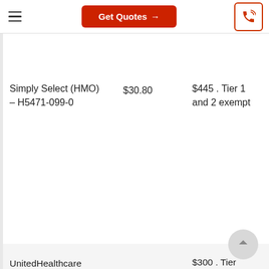[Figure (screenshot): Navigation bar with hamburger menu, red 'Get Quotes →' button, and orange phone icon button]
Simply Select (HMO) – H5471-099-0
$30.80
$445 . Tier 1 and 2 exempt
UnitedHealthcare Assisted Living
$300 . Tier